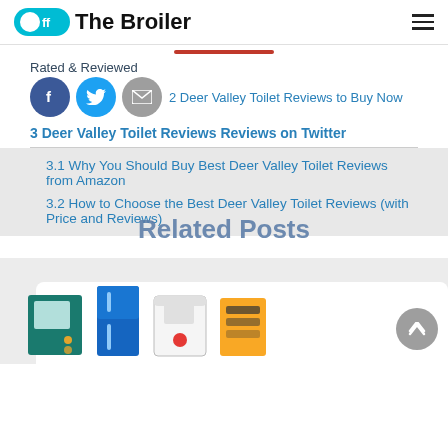Off The Broiler
[Figure (illustration): Red horizontal divider line (partially visible)]
Rated & Reviewed
[Figure (illustration): Social share icons: Facebook (blue circle with f), Twitter (light blue circle with bird), Email (grey circle with envelope)]
2 Deer Valley Toilet Reviews to Buy Now
3 Deer Valley Toilet Reviews Reviews on Twitter
3.1 Why You Should Buy Best Deer Valley Toilet Reviews from Amazon
3.2 How to Choose the Best Deer Valley Toilet Reviews (with Price and Reviews)
Related Posts
[Figure (illustration): Row of appliance illustration icons at bottom of page (partially visible): a dark teal appliance, blue refrigerator, white appliance with red button, yellow appliance]